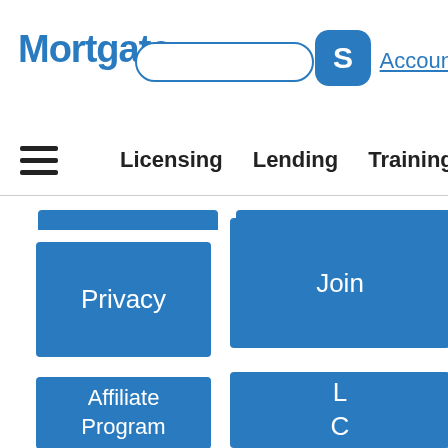MortgateS — navigation header with search box, Skype icon, and Account link
Licensing  Lending  Training
[Figure (screenshot): Blue tab/banner bar at top of content grid]
Privacy
Join
Affiliate Program
L C (partially visible)